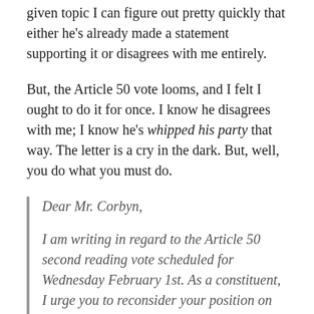given topic I can figure out pretty quickly that either he's already made a statement supporting it or disagrees with me entirely.
But, the Article 50 vote looms, and I felt I ought to do it for once. I know he disagrees with me; I know he's whipped his party that way. The letter is a cry in the dark. But, well, you do what you must do.
Dear Mr. Corbyn,

I am writing in regard to the Article 50 second reading vote scheduled for Wednesday February 1st. As a constituent, I urge you to reconsider your position on this bill, and to vote against it at the second reading.